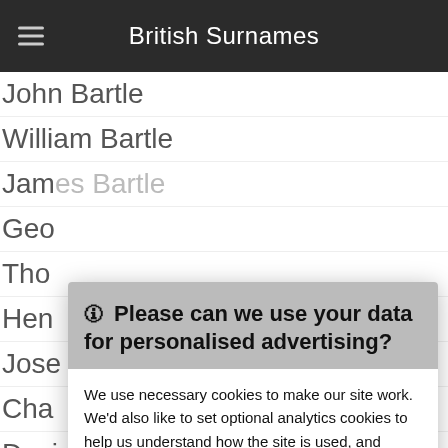British Surnames
John Bartle
William Bartle
Jam[es Bartle]
Geo[rge Bartle]
Tho[mas Bartle]
Hen[ry Bartle]
Jose[ph Bartle]
Cha[rles Bartle]
Davi[d Bartle]
Sam[uel Bartle]
Rich[ard Bartle]
Walt[er Bartle]
Her[bert Bartle]
Alfred Bartle
🛈 Please can we use your data for personalised advertising?

We use necessary cookies to make our site work. We'd also like to set optional analytics cookies to help us understand how the site is used, and marketing cookies to help ensure that you see relevant advertising. You can allow all cookies or manage them individually.

More information

[Accept Cookies] [Customise Cookies]